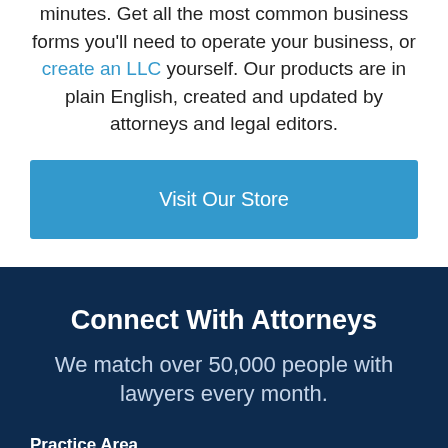minutes. Get all the most common business forms you'll need to operate your business, or create an LLC yourself. Our products are in plain English, created and updated by attorneys and legal editors.
Visit Our Store
Connect With Attorneys
We match over 50,000 people with lawyers every month.
Practice Area